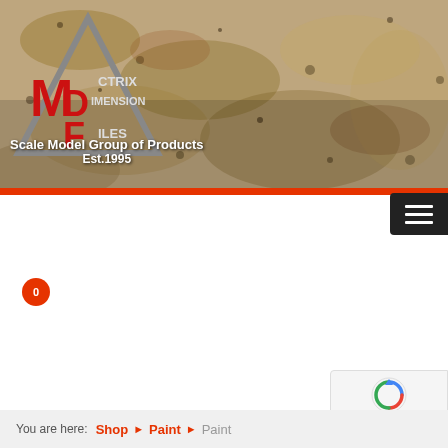[Figure (screenshot): Website header banner with granite stone texture background, MDF logo (triangle shape with M, D, F letters and text CTRIX, IMENSION, ILES), white bold text reading 'Scale Model Group of Products Est.1995']
[Figure (logo): Hamburger menu icon button (three horizontal white lines on dark background)]
[Figure (other): Red circular badge with number 0, representing shopping cart count]
[Figure (other): reCAPTCHA widget showing rotating arrows icon and 'Privacy - Terms' text]
You are here:  Shop  ▶  Paint  ▶  Paint